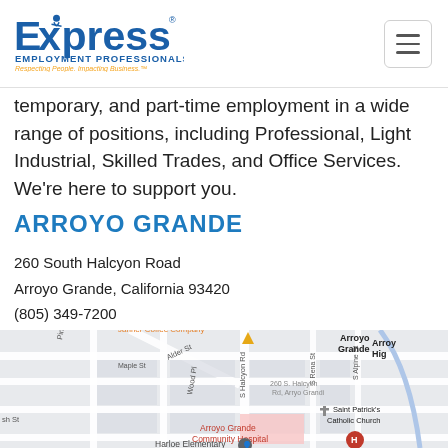Express Employment Professionals — Respecting People. Impacting Business.
temporary, and part-time employment in a wide range of positions, including Professional, Light Industrial, Skilled Trades, and Office Services. We're here to support you.
ARROYO GRANDE
260 South Halcyon Road
Arroyo Grande, California 93420
(805) 349-7200
[Figure (map): Google Maps embed showing the location of 260 South Halcyon Road, Arroyo Grande, California 93420. Visible landmarks include Arroyo Grande Community Hospital, Saint Patrick's Catholic Church, Harloe Elementary, Arroyo High, and nearby streets including Pine St, Maple St, Alder St, Wood Pl, S Halcyon Rd, S Rena St, S Alpine St.]